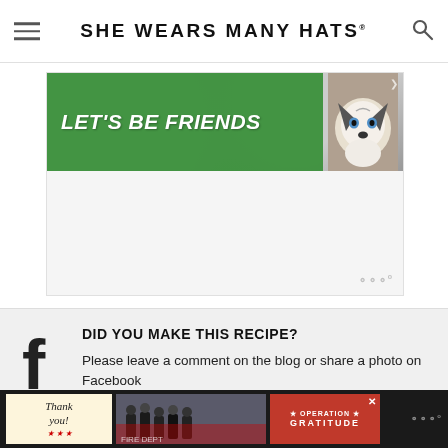SHE WEARS MANY HATS
[Figure (infographic): Green 'Let's Be Friends' advertisement banner with white bold italic text and a husky dog image on the right side]
DID YOU MAKE THIS RECIPE?
Please leave a comment on the blog or share a photo on Facebook
[Figure (infographic): Bottom dark bar advertisement for Operation Gratitude with 'Thank you!' text on left and red Operation Gratitude logo on right]